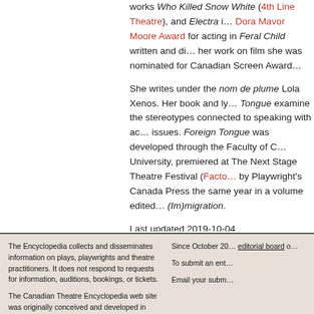works Who Killed Snow White (4th Line Theatre), and Electra i... Dora Mavor Moore Award for acting in Feral Child written and di... her work on film she was nominated for Canadian Screen Award...
She writes under the nom de plume Lola Xenos. Her book and ly... Tongue examine the stereotypes connected to speaking with ac... issues. Foreign Tongue was developed through the Faculty of C... University, premiered at The Next Stage Theatre Festival (Facto... by Playwright's Canada Press the same year in a volume edited... (Im)migration.
Last updated 2019-10-04
The Encyclopedia collects and disseminates information on plays, playwrights and theatre practitioners. It does not respond to requests for information, auditions, bookings, or tickets.

The Canadian Theatre Encyclopedia web site was originally conceived and developed in 1996 by Gaetan Charlebois—theatre critic, playwright, and actor.

Since October 20... editorial board o...

To submit an ent...

Email your subm...